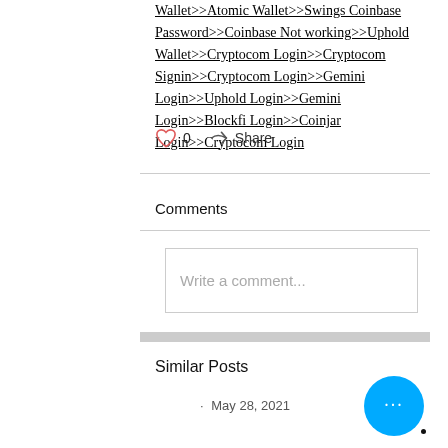Wallet>>Atomic Wallet>>Swings Coinbase Password>>Coinbase Not working>>Uphold Wallet>>Cryptocom Login>>Cryptocom Signin>>Cryptocom Login>>Gemini Login>>Uphold Login>>Gemini Login>>Blockfi Login>>Coinjar Login>>Cryptocom Login
0
Share
Comments
Write a comment...
Similar Posts
May 28, 2021